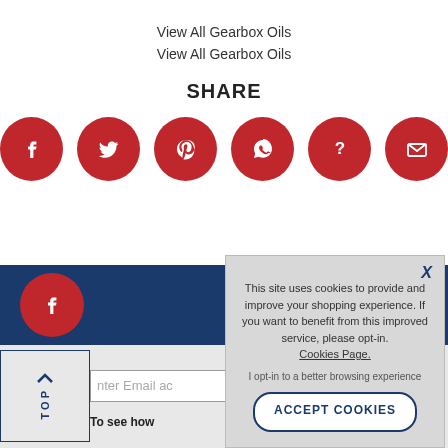View All Gearbox Oils
View All Gearbox Oils
SHARE
[Figure (infographic): Six red circular social media share buttons: Facebook, Twitter, Pinterest, WhatsApp, Question/Help, Email]
[Figure (infographic): Blue footer bar with red Facebook circle icon on the left, partially visible]
nter Email ac
To see how
This site uses cookies to provide and improve your shopping experience. If you want to benefit from this improved service, please opt-in. Cookies Page.
I opt-in to a better browsing experience
ACCEPT COOKIES